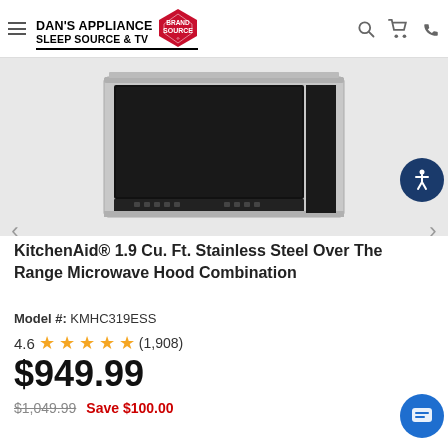Dan's Appliance Sleep Source & TV — Brand Source
[Figure (photo): KitchenAid stainless steel over-the-range microwave hood combination, front view showing black interior and stainless steel exterior]
KitchenAid® 1.9 Cu. Ft. Stainless Steel Over The Range Microwave Hood Combination
Model #: KMHC319ESS
4.6  ★★★★½  (1,908)
$949.99
$1,049.99   Save $100.00